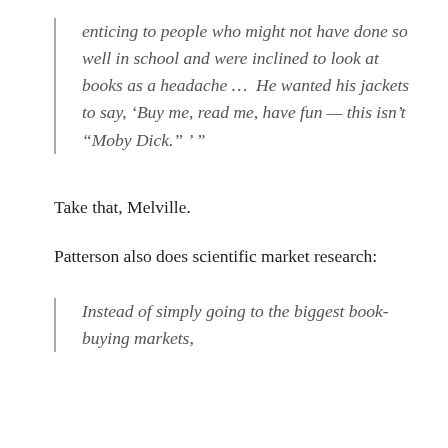enticing to people who might not have done so well in school and were inclined to look at books as a headache …  He wanted his jackets to say, ‘Buy me, read me, have fun — this isn’t “Moby Dick.” ’ ”
Take that, Melville.
Patterson also does scientific market research:
Instead of simply going to the biggest book-buying markets,